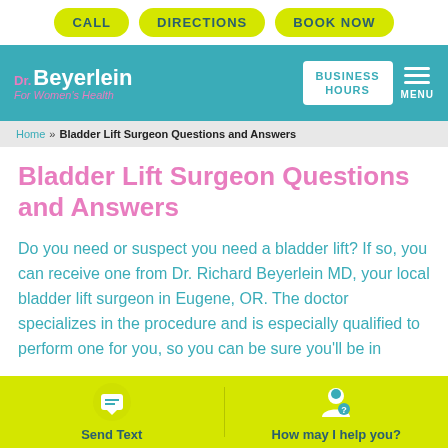CALL | DIRECTIONS | BOOK NOW
[Figure (logo): Dr. Beyerlein For Women's Health logo with teal background, navigation bar including Business Hours button and Menu]
Home » Bladder Lift Surgeon Questions and Answers
Bladder Lift Surgeon Questions and Answers
Do you need or suspect you need a bladder lift? If so, you can receive one from Dr. Richard Beyerlein MD, your local bladder lift surgeon in Eugene, OR. The doctor specializes in the procedure and is especially qualified to perform one for you, so you can be sure you'll be in
Send Text | How may I help you?